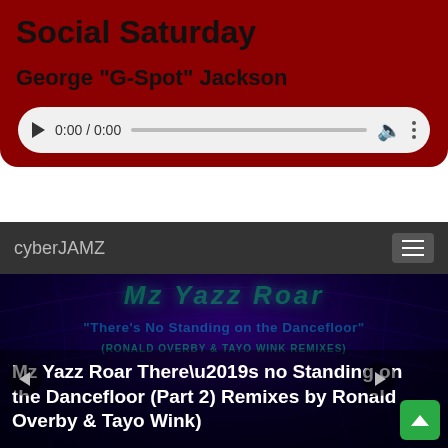Social Saturday
George "G-Spot" Jackson
[Figure (screenshot): Audio player bar showing 0:00 / 0:00 with play button, progress bar, volume and options icons]
cyberJAMZ
[Figure (photo): Dark blue/purple psychedelic background with neon green text reading 'Mz Yazz Roar' and blue text reading 'There's No Standing on the Dancefloor' (Ronald Overby & Tayo Wink Remixes) - album cover artwork]
Mz Yazz Roar There’s no Standing on the Dancefloor (Part 2) Remixes by Ronald Overby & Tayo Wink)